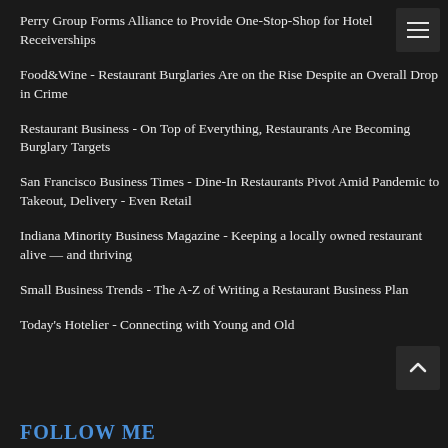Perry Group Forms Alliance to Provide One-Stop-Shop for Hotel Receiverships
Food&Wine - Restaurant Burglaries Are on the Rise Despite an Overall Drop in Crime
Restaurant Business - On Top of Everything, Restaurants Are Becoming Burglary Targets
San Francisco Business Times - Dine-In Restaurants Pivot Amid Pandemic to Takeout, Delivery - Even Retail
Indiana Minority Business Magazine - Keeping a locally owned restaurant alive — and thriving
Small Business Trends - The A-Z of Writing a Restaurant Business Plan
Today's Hotelier - Connecting with Young and Old
FOLLOW ME